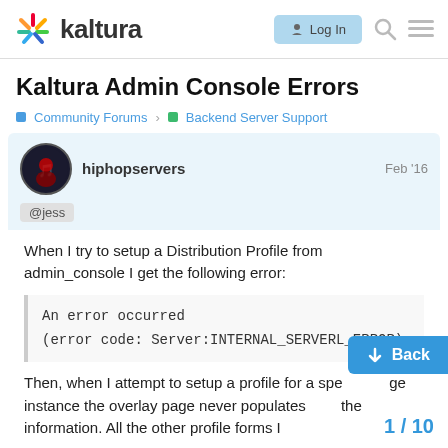kaltura | Log In
Kaltura Admin Console Errors
Community Forums > Backend Server Support
hiphopservers  Feb '16
@jess
When I try to setup a Distribution Profile from admin_console I get the following error:
An error occurred
(error code: Server:INTERNAL_SERVERL_ERROR)
Then, when I attempt to setup a profile for a specific page instance the overlay page never populates with the information. All the other profile forms I the content on the provided page there.